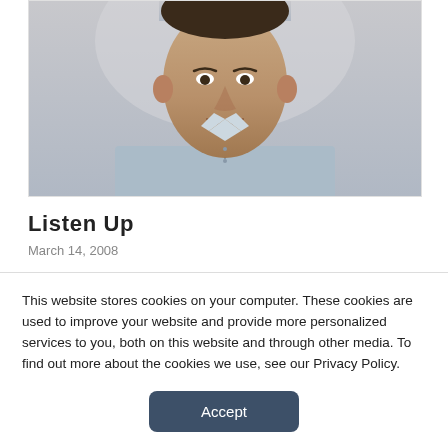[Figure (photo): Cropped headshot photo of a man wearing a light blue shirt and dark tie, smiling slightly, photographed from the shoulders up.]
Listen Up
March 14, 2008
[Figure (other): Gray placeholder rectangle below the article date, likely representing an embedded media player or advertisement area.]
This website stores cookies on your computer. These cookies are used to improve your website and provide more personalized services to you, both on this website and through other media. To find out more about the cookies we use, see our Privacy Policy.
Accept